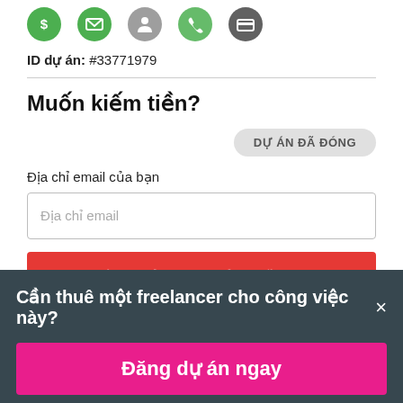[Figure (infographic): Row of five circular icons: dollar sign (green), email envelope (green), person silhouette (gray), phone receiver (green), credit card (dark gray)]
ID dự án: #33771979
Muốn kiếm tiền?
DỰ ÁN ĐÃ ĐÓNG
Địa chỉ email của bạn
Địa chỉ email
Nộp 1 hồ sơ dự thầu Miễn phí
Cần thuê một freelancer cho công việc này?×
Đăng dự án ngay